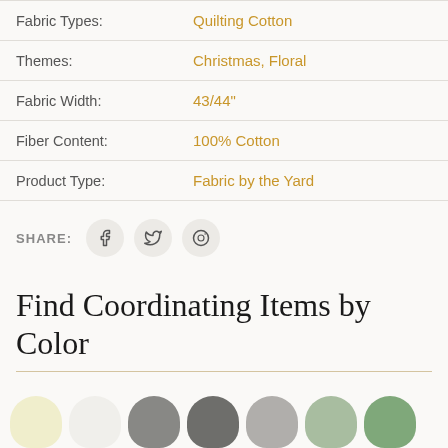| Fabric Types: | Quilting Cotton |
| Themes: | Christmas, Floral |
| Fabric Width: | 43/44" |
| Fiber Content: | 100% Cotton |
| Product Type: | Fabric by the Yard |
SHARE:
Find Coordinating Items by Color
[Figure (illustration): Seven color swatches in rounded oval/circle shapes: pale yellow, white, medium gray, dark gray, light gray, sage green, medium sage green]